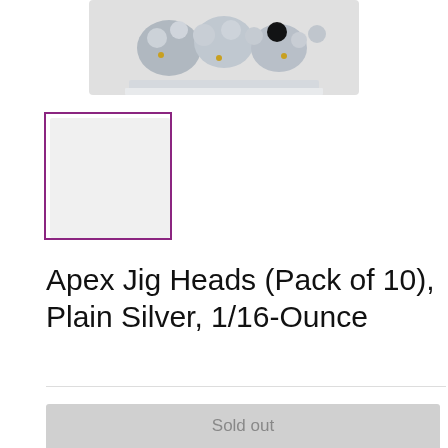[Figure (photo): Product photo of Apex Jig Heads pack of 10, Plain Silver jig heads in clear plastic packaging, partially cropped at top]
[Figure (photo): Small square thumbnail of the same product with purple border outline selector]
Apex Jig Heads (Pack of 10), Plain Silver, 1/16-Ounce
Price: $7
Shipping calculated at checkout
Quantity: 1
Sold out